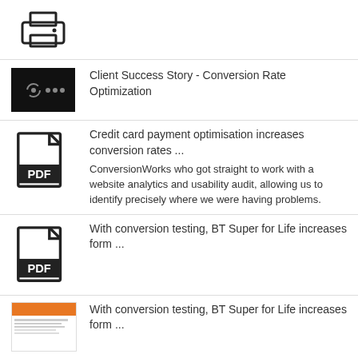[Figure (illustration): Printer icon in outline style]
[Figure (screenshot): Black screenshot thumbnail with loading spinner and password dots]
Client Success Story - Conversion Rate Optimization
[Figure (illustration): PDF file icon]
Credit card payment optimisation increases conversion rates ...
ConversionWorks who got straight to work with a website analytics and usability audit, allowing us to identify precisely where we were having problems.
[Figure (illustration): PDF file icon]
With conversion testing, BT Super for Life increases form ...
[Figure (screenshot): Document thumbnail with orange header bar]
With conversion testing, BT Super for Life increases form ...